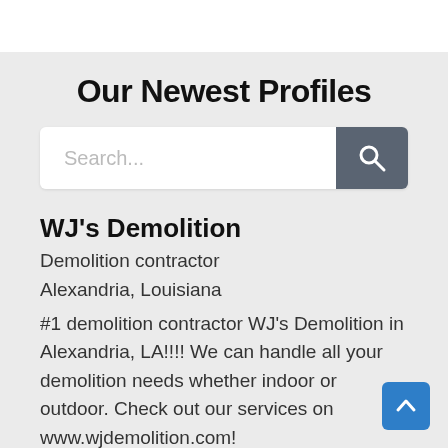Our Newest Profiles
[Figure (screenshot): Search bar input with magnifying glass button on grey background]
WJ's Demolition
Demolition contractor
Alexandria, Louisiana
#1 demolition contractor WJ's Demolition in Alexandria, LA!!!! We can handle all your demolition needs whether indoor or outdoor. Check out our services on www.wjdemolition.com!